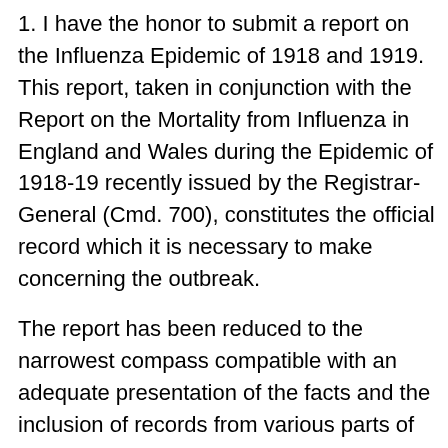1. I have the honor to submit a report on the Influenza Epidemic of 1918 and 1919. This report, taken in conjunction with the Report on the Mortality from Influenza in England and Wales during the Epidemic of 1918-19 recently issued by the Registrar-General (Cmd. 700), constitutes the official record which it is necessary to make concerning the outbreak.
The report has been reduced to the narrowest compass compatible with an adequate presentation of the facts and the inclusion of records from various parts of the world. There can be no doubt that as a historical survey, it will prove invaluable for future reference m the event of subsequent